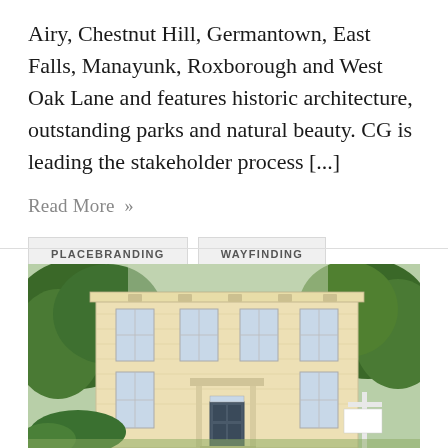Airy, Chestnut Hill, Germantown, East Falls, Manayunk, Roxborough and West Oak Lane and features historic architecture, outstanding parks and natural beauty. CG is leading the stakeholder process [...]
Read More »
PLACEBRANDING
WAYFINDING
[Figure (photo): Photograph of a historic two-story cream/beige brick building with symmetrical windows, a columned entrance doorway, decorative cornice with ornamental details, flanked by mature green trees on either side. A white sign post is visible on the right side of the building.]